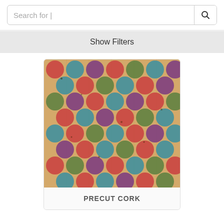Search for |
Show Filters
[Figure (photo): Close-up photo of colorful precut cork fabric with a polka dot pattern. The cork has a natural beige/tan base with circles in red, teal/blue, green, and purple colors arranged in a honeycomb-like grid pattern.]
PRECUT CORK